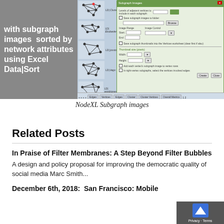[Figure (screenshot): NodeXL subgraph images screenshot showing a list of network subgraph images on the left sorted by network attributes, and a dialog box on the right for configuring subgraph image creation. Left gray panel shows text: 'with subgraph images sorted by network attributes using Excel Data|Sort']
NodeXL Subgraph images
Related Posts
In Praise of Filter Membranes: A Step Beyond Filter Bubbles
A design and policy proposal for improving the democratic quality of social media Marc Smith...
December 6th, 2018:  San Francisco: Mobile